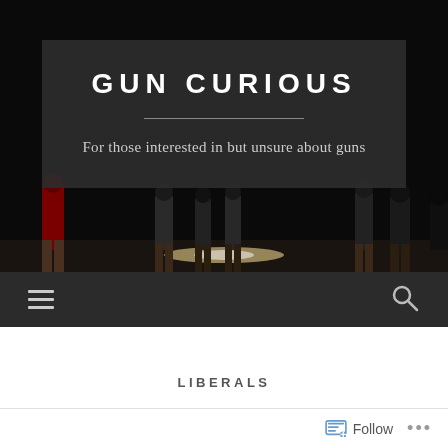[Figure (photo): Dark background hero image showing silhouettes of people standing on a lit surface, used as a website header background]
GUN CURIOUS
For those interested in but unsure about guns
[Figure (screenshot): Navigation bar with hamburger menu icon on left and search icon on right, dark background]
LIBERALS
Follow